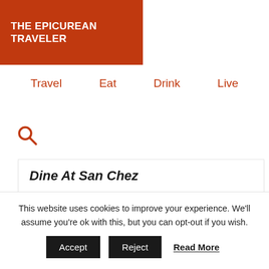THE EPICUREAN TRAVELER
Travel  Eat  Drink  Live
Dine At San Chez
Cuisine: Spanish Tapas
This website uses cookies to improve your experience. We'll assume you're ok with this, but you can opt-out if you wish.
Accept  Reject  Read More